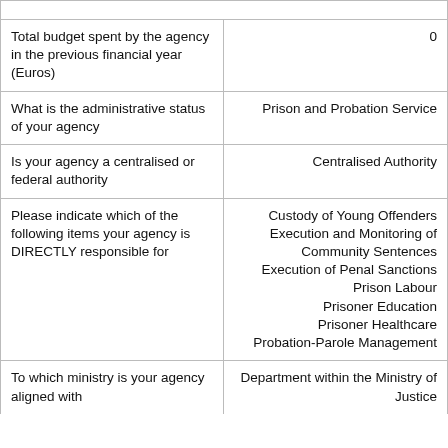| Question | Answer |
| --- | --- |
| Total budget spent by the agency in the previous financial year (Euros) | 0 |
| What is the administrative status of your agency | Prison and Probation Service |
| Is your agency a centralised or federal authority | Centralised Authority |
| Please indicate which of the following items your agency is DIRECTLY responsible for | Custody of Young Offenders
Execution and Monitoring of Community Sentences
Execution of Penal Sanctions
Prison Labour
Prisoner Education
Prisoner Healthcare
Probation-Parole Management |
| To which ministry is your agency aligned with | Department within the Ministry of Justice |